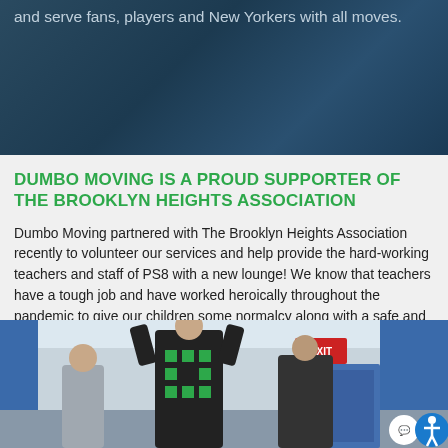and serve fans, players and New Yorkers with all moves.
DUMBO MOVING IS A PROUD SUPPORTER OF THE BROOKLYN HEIGHTS ASSOCIATION
Dumbo Moving partnered with The Brooklyn Heights Association recently to volunteer our services and help provide the hard-working teachers and staff of PS8 with a new lounge! We know that teachers have a tough job and have worked heroically throughout the pandemic to give our children some normalcy along with a safe and supportive place to learn.
[Figure (photo): Photo of movers working inside a school room with blue walls, an exit sign visible, people lifting items]